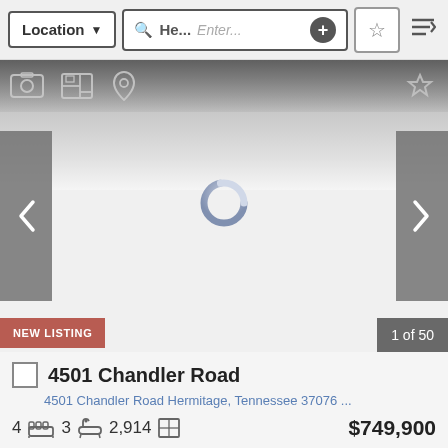[Figure (screenshot): Mobile real estate app search bar with Location dropdown, search field showing 'He...' placeholder, Enter... text, plus button, star/favorite button, and sort icon]
[Figure (screenshot): Property image area with toolbar icons at top (photo, floor plan, map/bookmark icons) and a star icon at right, fading gradient background]
[Figure (screenshot): Left navigation arrow button (gray) for image carousel]
[Figure (screenshot): Loading spinner (circular ring, light blue/gray) in center of image carousel area]
[Figure (screenshot): Right navigation arrow button (gray) for image carousel]
NEW LISTING
1 of 50
4501 Chandler Road
4501 Chandler Road Hermitage, Tennessee 37076 ...
4   3   2,914   $749,900